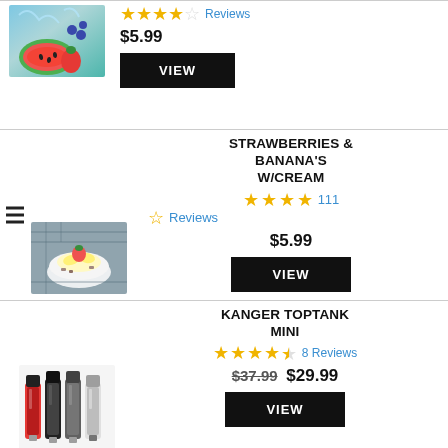[Figure (photo): Watermelon slices, strawberries, and blueberries in water splash]
Reviews
$5.99
VIEW
STRAWBERRIES & BANANA'S W/CREAM
111 Reviews
$5.99
[Figure (photo): Bowl of strawberries and bananas with cream]
VIEW
KANGER TOPTANK MINI
8 Reviews
$37.99 $29.99
[Figure (photo): Kanger Toptank Mini vape tanks in multiple colors]
VIEW